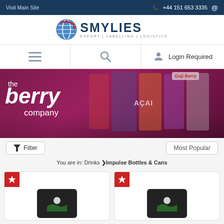Visit Main Site | +44 151 653 3335 | @
[Figure (logo): Smylies logo with globe icon. Text: SMYLIES EXPORT | LABELLING | LOGISTICS]
[Figure (screenshot): Navigation bar with hamburger menu, search icon, and Login Required text]
[Figure (photo): The Berry Company promotional banner with berry products and fruits on dark magenta background]
Filter | Most Popular
You are in: Drinks >Impulse Bottles & Cans
[Figure (photo): Product card 1 with red star badge and image placeholder]
[Figure (photo): Product card 2 with red star badge and image placeholder]